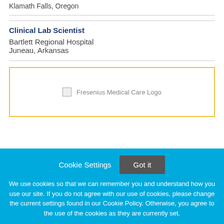Klamath Falls, Oregon
Clinical Lab Scientist
Bartlett Regional Hospital
Juneau, Arkansas
[Figure (logo): Fresenius Medical Care Logo placeholder image]
Cookie Settings  Got it
We use cookies so that we can remember you and understand how you use our site. If you do not agree with our use of cookies, please change the current settings found in our Cookie Policy. Otherwise, you agree to the use of the cookies as they are currently set.